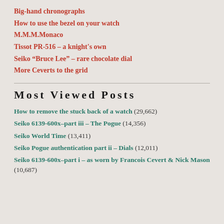Big-hand chronographs
How to use the bezel on your watch
M.M.M.Monaco
Tissot PR-516 – a knight's own
Seiko “Bruce Lee” – rare chocolate dial
More Ceverts to the grid
Most Viewed Posts
How to remove the stuck back of a watch (29,662)
Seiko 6139-600x–part iii – The Pogue (14,356)
Seiko World Time (13,411)
Seiko Pogue authentication part ii – Dials (12,011)
Seiko 6139-600x–part i – as worn by Francois Cevert & Nick Mason (10,687)